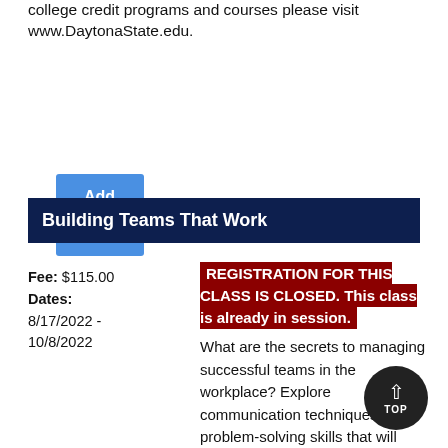college credit programs and courses please visit www.DaytonaState.edu.
Add To Cart
Building Teams That Work
Fee: $115.00
Dates: 8/17/2022 - 10/8/2022
REGISTRATION FOR THIS CLASS IS CLOSED. This class is already in session. What are the secrets to managing successful teams in the workplace? Explore communication techniques and problem-solving skills that will help you get your team on track in no time.
[Figure (other): TOP button — circular dark button with upward chevron arrow and TOP label]